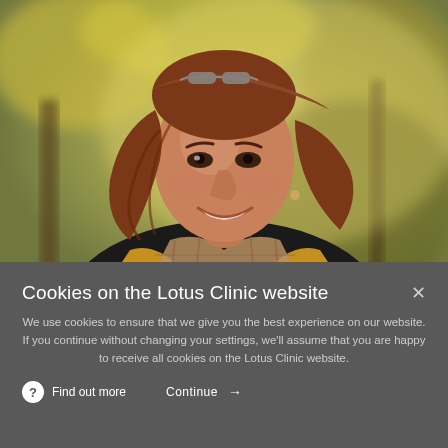[Figure (photo): A middle-aged woman with reddish-brown hair, wearing sunglasses on her head, a black turtleneck, a yellow/mustard vest, and a plaid scarf, smiling warmly outdoors in an autumn park setting with yellow-green blurred foliage in the background.]
Cookies on the Lotus Clinic website
We use cookies to ensure that we give you the best experience on our website. If you continue without changing your settings, we'll assume that you are happy to receive all cookies on the Lotus Clinic website.
Find out more   Continue →